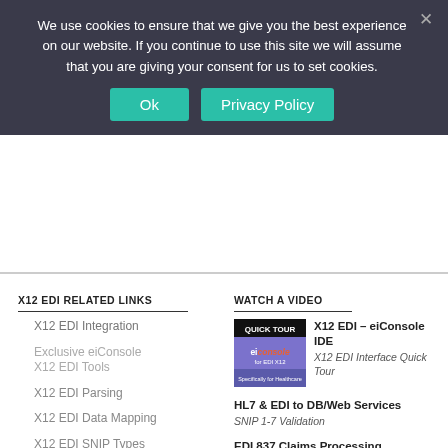We use cookies to ensure that we give you the best experience on our website. If you continue to use this site we will assume that you are giving your consent for us to set cookies.
[Figure (screenshot): Cookie consent dialog with Ok and Privacy Policy buttons on dark background]
X12 EDI RELATED LINKS
X12 EDI Integration
Exclusive eiConsole X12 EDI Tools
X12 EDI Parsing
X12 EDI Data Mapping
X12 EDI SNIP Types
X12 EDI Automation EDI 834, 837, 835
WATCH A VIDEO
[Figure (screenshot): Quick Tour thumbnail for eiConsole for EDI X12 - Specifically for Healthcare]
X12 EDI – eiConsole IDE
X12 EDI Interface Quick Tour
HL7 & EDI to DB/Web Services
SNIP 1-7 Validation
EDI 837 Claims Processing Integration
Validate & Map to DB